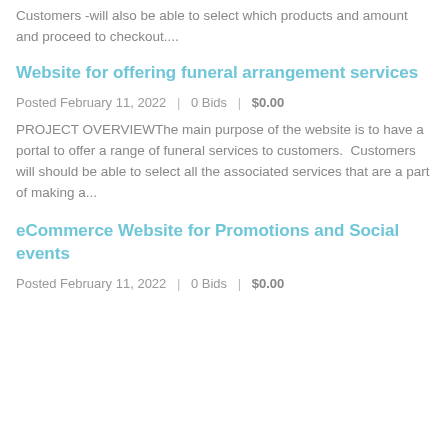Customers -will also be able to select which products and amount and proceed to checkout....
Website for offering funeral arrangement services
Posted February 11, 2022  |  0 Bids  |  $0.00
PROJECT OVERVIEWThe main purpose of the website is to have a portal to offer a range of funeral services to customers.  Customers will should be able to select all the associated services that are a part of making a...
eCommerce Website for Promotions and Social events
Posted February 11, 2022  |  0 Bids  |  $0.00